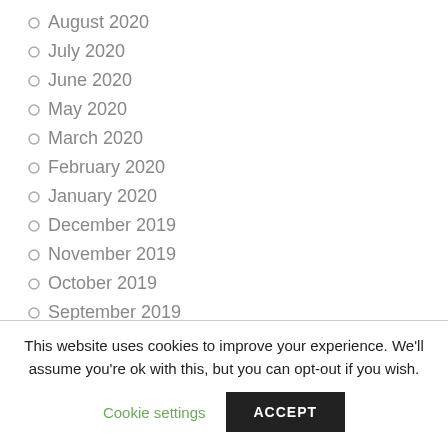August 2020
July 2020
June 2020
May 2020
March 2020
February 2020
January 2020
December 2019
November 2019
October 2019
September 2019
August 2019
July 2019
This website uses cookies to improve your experience. We'll assume you're ok with this, but you can opt-out if you wish.
Cookie settings  ACCEPT